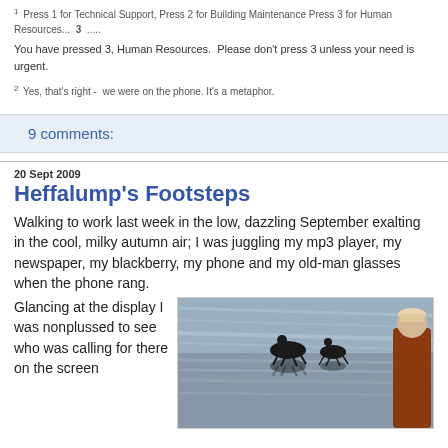1 Press 1 for Technical Support, Press 2 for Building Maintenance Press 3 for Human Resources...  3  .....
You have pressed 3, Human Resources.  Please don't press 3 unless your need is urgent.
2 Yes, that's right -  we were on the phone. It's a metaphor.
9 comments:
20 Sept 2009
Heffalump's Footsteps
Walking to work last week in the low, dazzling September exalting in the cool, milky autumn air; I was juggling my mp3 player, my newspaper, my blackberry, my phone and my old-man glasses when the phone rang.
Glancing at the display I was nonplussed to see who was calling for there on the screen
[Figure (photo): Photo of a person and silhouette of horse and rider on a beach with reflections on wet sand]